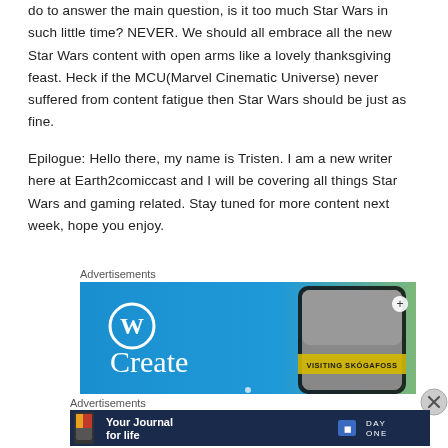do to answer the main question, is it too much Star Wars in such little time? NEVER. We should all embrace all the new Star Wars content with open arms like a lovely thanksgiving feast. Heck if the MCU(Marvel Cinematic Universe) never suffered from content fatigue then Star Wars should be just as fine.
Epilogue: Hello there, my name is Tristen. I am a new writer here at Earth2comiccast and I will be covering all things Star Wars and gaming related. Stay tuned for more content next week, hope you enjoy.
Advertisements
[Figure (other): WordPress advertisement banner showing WordPress logo and a phone displaying 'VISITING SKOGAFOSS', with 'Create' text on blue background]
Advertisements
[Figure (other): Day One app advertisement showing 'Your Journal for life' on dark blue background with phone image and DAY ONE branding]